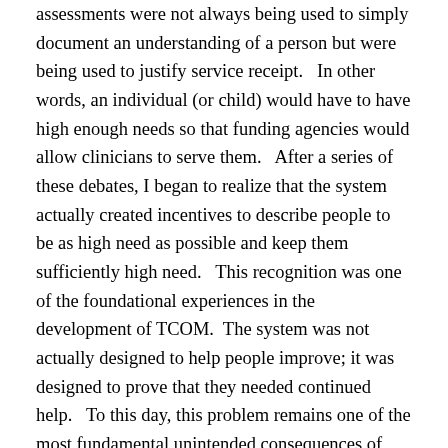assessments were not always being used to simply document an understanding of a person but were being used to justify service receipt.   In other words, an individual (or child) would have to have high enough needs so that funding agencies would allow clinicians to serve them.   After a series of these debates, I began to realize that the system actually created incentives to describe people to be as high need as possible and keep them sufficiently high need.   This recognition was one of the foundational experiences in the development of TCOM.  The system was not actually designed to help people improve; it was designed to prove that they needed continued help.   To this day, this problem remains one of the most fundamental unintended consequences of managing services rather than transformations.
Proof of Concept:  The CANS is now the most widely used